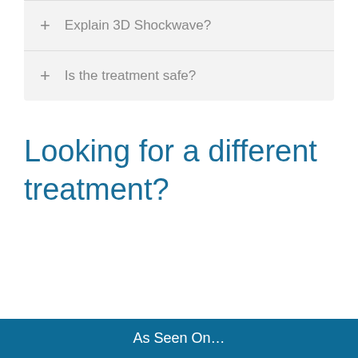+ Explain 3D Shockwave?
+ Is the treatment safe?
Looking for a different treatment?
As Seen On…